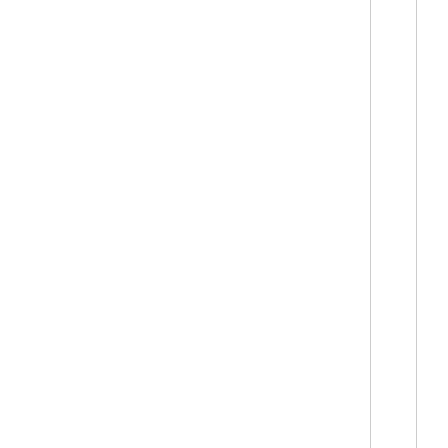It doesn't matter how the ma... always require nine months and th... post-natal support for many years...
Even if you factor in all manner o... assume that every child produce... this is nowhere near the so-called...
An r-strategy female creature la... The male of the species then fert... swimming away. As soon as th... creature is ready to go its own... most – usually far less. Many wi... but the ones that survive require n...
There is no crossover between th... humans may be evolving shorter... litter sizes, but these are very ti... exist any living human capable... none of which require post-natum...
I really should not need to tell you...
Reply
Carlylean Restorationist says: 2018-08-24 at 16:40
See the thing is, the phenome... theory sets out to explain can ver...